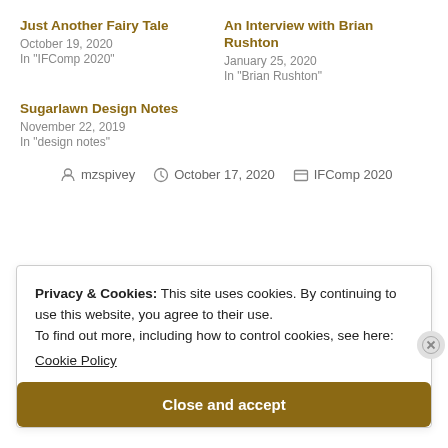Just Another Fairy Tale
October 19, 2020
In "IFComp 2020"
An Interview with Brian Rushton
January 25, 2020
In "Brian Rushton"
Sugarlawn Design Notes
November 22, 2019
In "design notes"
mzspivey  October 17, 2020  IFComp 2020
Privacy & Cookies: This site uses cookies. By continuing to use this website, you agree to their use.
To find out more, including how to control cookies, see here:
Cookie Policy
Close and accept